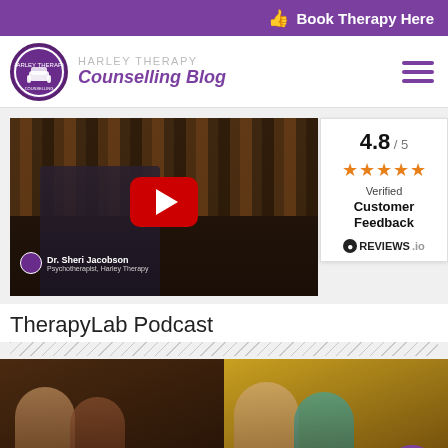Book Therapy Here
[Figure (logo): Harley Therapy circular logo with chair illustration]
HARLEY THERAPY Counselling Blog
[Figure (screenshot): YouTube video thumbnail showing Dr. Sheri Jacobson, Psychotherapist Harley Therapy, with bookshelf background and red YouTube play button]
[Figure (infographic): Rating widget showing 4.8/5 stars, Verified Customer Feedback badge from REVIEWS.io]
TherapyLab Podcast
[Figure (photo): Two women sitting on a sofa with a therapy clapperboard prop, left image]
[Figure (photo): Two women smiling with a therapy clapperboard, right image, with search icon button overlay]